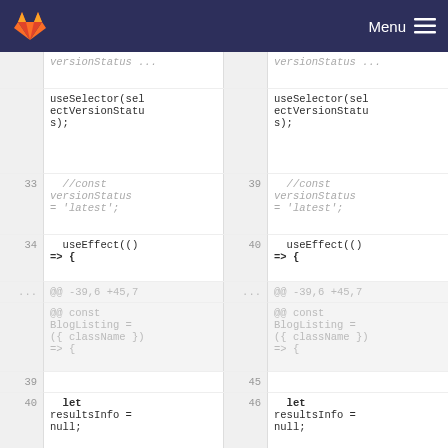GitLab — Menu
[Figure (screenshot): A GitLab diff view showing two side-by-side code panels. Left panel shows old code lines 33-41 with a diff hunk, right panel shows new code lines 39-48 with an added line. Code includes useSelector, versionStatus, useEffect, BlogListing, and resultsInfo = null.]